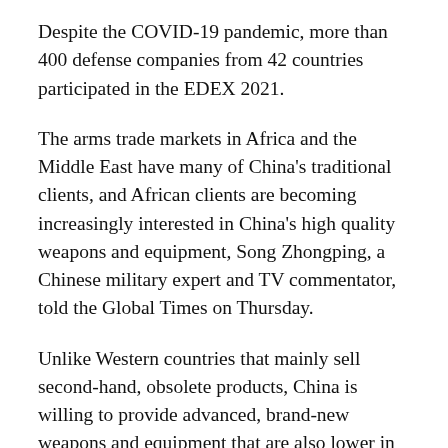Despite the COVID-19 pandemic, more than 400 defense companies from 42 countries participated in the EDEX 2021.
The arms trade markets in Africa and the Middle East have many of China's traditional clients, and African clients are becoming increasingly interested in China's high quality weapons and equipment, Song Zhongping, a Chinese military expert and TV commentator, told the Global Times on Thursday.
Unlike Western countries that mainly sell second-hand, obsolete products, China is willing to provide advanced, brand-new weapons and equipment that are also lower in cost, Song said. "They can bring a huge boost to African countries' defense capabilities."